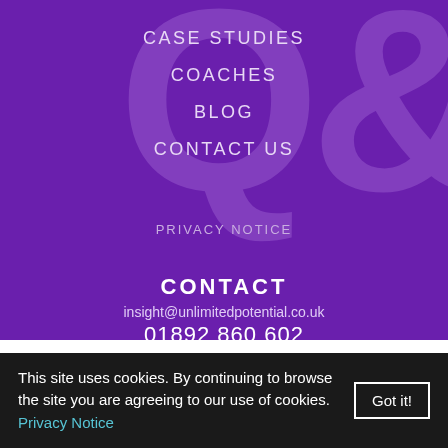CASE STUDIES
COACHES
BLOG
CONTACT US
PRIVACY NOTICE
CONTACT
insight@unlimitedpotential.co.uk
01892 860 602
SOCIAL
This site uses cookies. By continuing to browse the site you are agreeing to our use of cookies. Privacy Notice Got it!